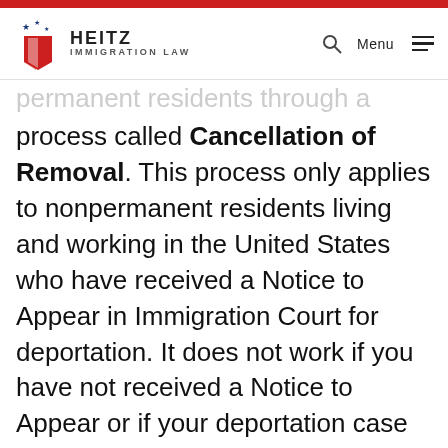Heitz Immigration Law — navigation bar
...United States to make their citizens permanent residents through a process called Cancellation of Removal. This process only applies to nonpermanent residents living and working in the United States who have received a Notice to Appear in Immigration Court for deportation. It does not work if you have not received a Notice to Appear or if your deportation case has already been closed.
If you are a nonpermanent resident